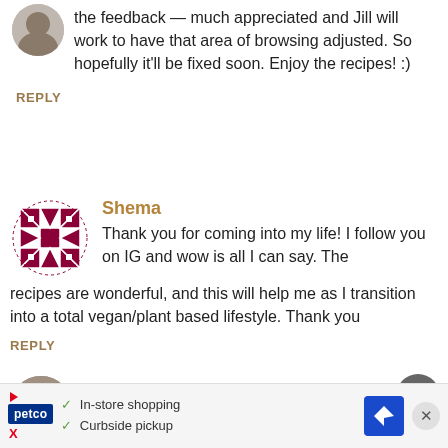the feedback — much appreciated and Jill will work to have that area of browsing adjusted. So hopefully it'll be fixed soon. Enjoy the recipes! :)
REPLY
Shema
Thank you for coming into my life! I follow you on IG and wow is all I can say. The recipes are wonderful, and this will help me as I transition into a total vegan/plant based lifestyle. Thank you
REPLY
Audrey
[Figure (other): Petco advertisement banner with logo, checkmarks for In-store shopping and Curbside pickup, and a directions icon]
[Figure (other): Scroll to top circular button (up chevron)]